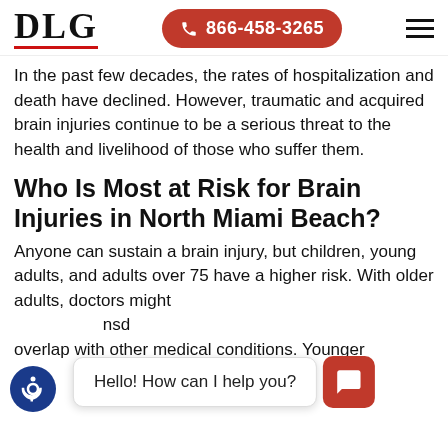DLG | 866-458-3265
In the past few decades, the rates of hospitalization and death have declined. However, traumatic and acquired brain injuries continue to be a serious threat to the health and livelihood of those who suffer them.
Who Is Most at Risk for Brain Injuries in North Miami Beach?
Anyone can sustain a brain injury, but children, young adults, and adults over 75 have a higher risk. With older adults, doctors might diagnose the symptoms and conditions overlap with other medical conditions. Younger